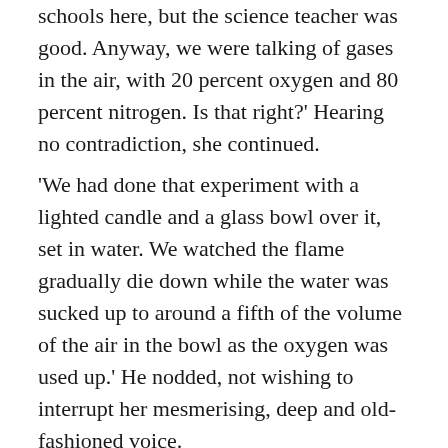schools here, but the science teacher was good. Anyway, we were talking of gases in the air, with 20 percent oxygen and 80 percent nitrogen. Is that right?' Hearing no contradiction, she continued.
'We had done that experiment with a lighted candle and a glass bowl over it, set in water. We watched the flame gradually die down while the water was sucked up to around a fifth of the volume of the air in the bowl as the oxygen was used up.' He nodded, not wishing to interrupt her mesmerising, deep and old-fashioned voice.
'Anyway, the teacher then mentioned that a tiny fraction of the atmospheric mix was carbon dioxide – well he may have mentioned water